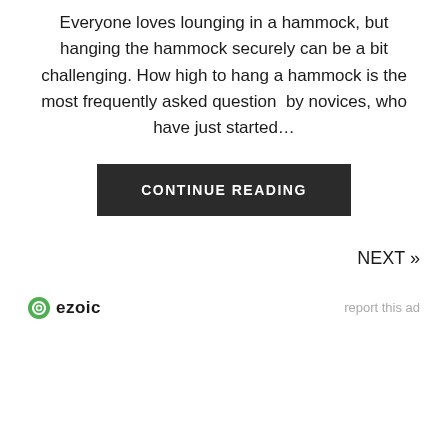Everyone loves lounging in a hammock, but hanging the hammock securely can be a bit challenging. How high to hang a hammock is the most frequently asked question  by novices, who have just started…
CONTINUE READING
NEXT »
[Figure (logo): Ezoic logo with green circular icon and bold 'ezoic' text]
report this ad